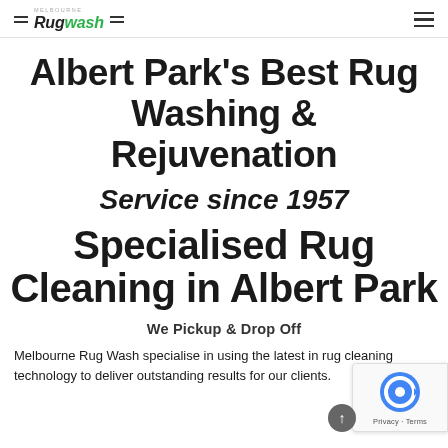Melbourne Rugwash — navigation logo and hamburger menu
Albert Park's Best Rug Washing & Rejuvenation
Service since 1957
Specialised Rug Cleaning in Albert Park
We Pickup & Drop Off
Melbourne Rug Wash specialise in using the latest in rug cleaning technology to deliver outstanding results for our clients.